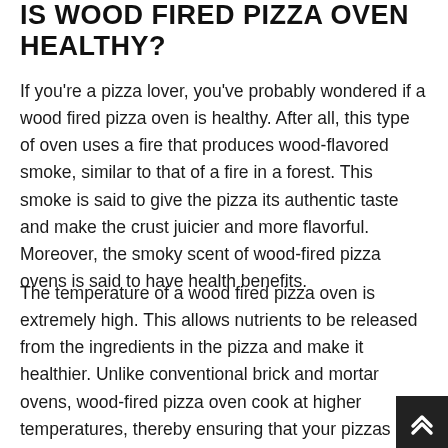IS WOOD FIRED PIZZA OVEN HEALTHY?
If you're a pizza lover, you've probably wondered if a wood fired pizza oven is healthy. After all, this type of oven uses a fire that produces wood-flavored smoke, similar to that of a fire in a forest. This smoke is said to give the pizza its authentic taste and make the crust juicier and more flavorful. Moreover, the smoky scent of wood-fired pizza ovens is said to have health benefits.
The temperature of a wood fired pizza oven is extremely high. This allows nutrients to be released from the ingredients in the pizza and make it healthier. Unlike conventional brick and mortar ovens, wood-fired pizza oven cook at higher temperatures, thereby ensuring that your pizzas taste even better! In addition, a wood fired pizza oven is safer for your health than an electric or gas oven. You can use it to